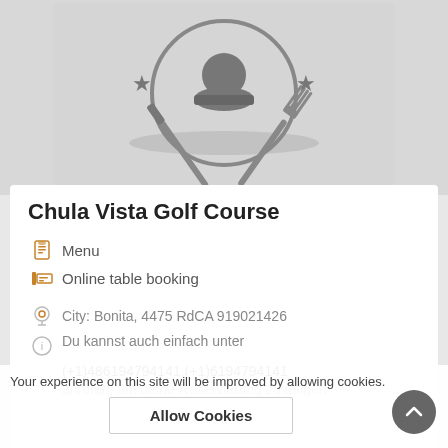[Figure (logo): Restaurant logo: chef hat inside a circle with a knife and fork crossed behind it, two stars on either side, gray tones on light gray background]
Chula Vista Golf Course
Menu
Online table booking
City: Bonita, 4475 RdCA 919021426
Du kannst auch einfach unter (+1)486194794141,(+1)6194794141 anrufen, um deine Reservierung zu tätigen
Your experience on this site will be improved by allowing cookies.
Allow Cookies